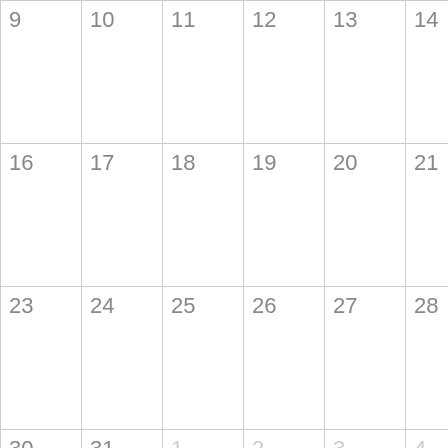| 9 | 10 | 11 | 12 | 13 | 14 | 15 |
| 16 | 17 | 18 | 19 | 20 | 21 | 22 |
| 23 | 24 | 25 | 26 | 27 | 28 | 29 |
| 30 | 31 | 1 | 2 | 3 | 4 | 5 |